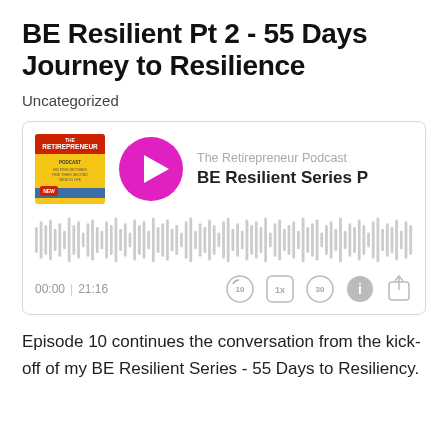BE Resilient Pt 2 - 55 Days Journey to Resilience
Uncategorized
[Figure (screenshot): Embedded podcast player for The Retirepreneur Podcast, episode 'BE Resilient Series P...' showing album art, magenta play button, audio waveform, time 00:00 | 21:16, and playback controls (rewind 10, 1x speed, skip 30, info, share).]
Episode 10 continues the conversation from the kick-off of my BE Resilient Series - 55 Days to Resiliency.